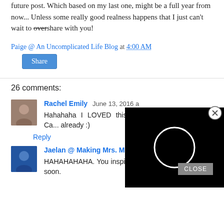future post. Which based on my last one, might be a full year from now... Unless some really good realness happens that I just can't wait to overshare with you!
Paige @ An Uncomplicated Life Blog at 4:00 AM
Share
26 comments:
Rachel Emily  June 13, 2016 a...
Hahahaha I LOVED this!! tolls...freaking hilarious!! Ca... already :)
Reply
[Figure (screenshot): Black video player overlay with a white loading circle in the center]
CLOSE
Jaelan @ Making Mrs. M  June 13, 2016 at 6:09 AM
HAHAHAHAHA. You inspired me to do a post like this soon.